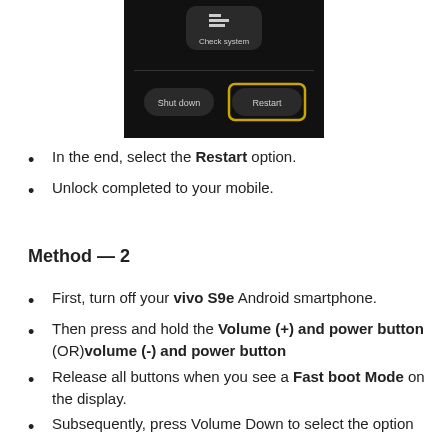[Figure (screenshot): Screenshot of a phone screen showing 'Check system' option at the top, and 'Shut down' and 'Restart' buttons at the bottom. The 'Restart' button is highlighted with a yellow/gold rectangular border.]
In the end, select the Restart option.
Unlock completed to your mobile.
Method — 2
First, turn off your vivo S9e Android smartphone.
Then press and hold the Volume (+) and power button (OR)volume (-) and power button
Release all buttons when you see a Fast boot Mode on the display.
Subsequently, press Volume Down to select the option